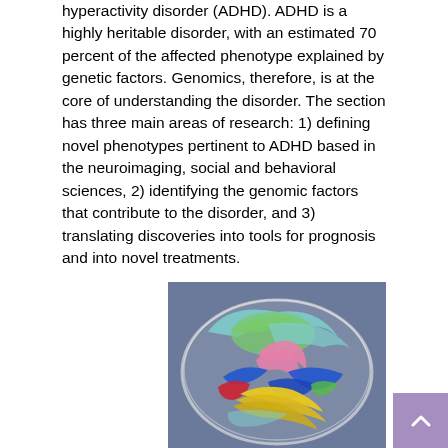hyperactivity disorder (ADHD). ADHD is a highly heritable disorder, with an estimated 70 percent of the affected phenotype explained by genetic factors. Genomics, therefore, is at the core of understanding the disorder. The section has three main areas of research: 1) defining novel phenotypes pertinent to ADHD based in the neuroimaging, social and behavioral sciences, 2) identifying the genomic factors that contribute to the disorder, and 3) translating discoveries into tools for prognosis and into novel treatments.
[Figure (illustration): 3D rendering of a human brain cross-section showing colored anatomical structures including green, teal, pink, blue, yellow, and red brain regions against a gray-blue background.]